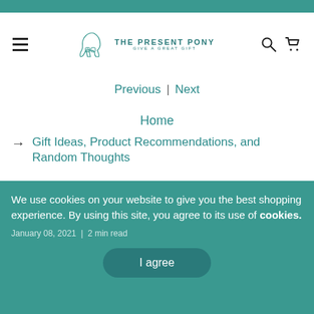THE PRESENT PONY - GIVE A GREAT GIFT
Previous | Next
Home
Gift Ideas, Product Recommendations, and Random Thoughts
We use cookies on your website to give you the best shopping experience. By using this site, you agree to its use of cookies.
January 08, 2021 | 2 min read
I agree